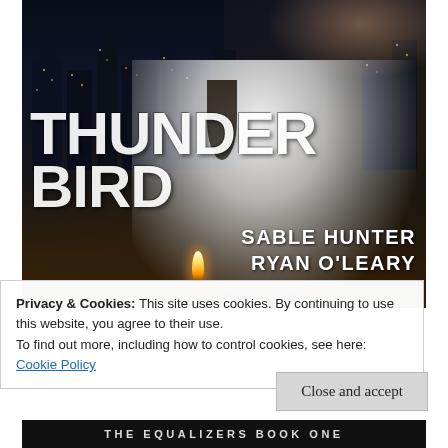[Figure (illustration): Book cover for 'Thunderbird' by Sable Hunter and Ryan O'Leary. Dark background with city lights at night, a man in a white open-collar shirt in the foreground, with a candle flame visible. Large bold white text reads 'THUNDERBIRD' with author names 'SABLE HUNTER' and 'RYAN O'LEARY' below.]
Privacy & Cookies: This site uses cookies. By continuing to use this website, you agree to their use.
To find out more, including how to control cookies, see here:
Cookie Policy
Close and accept
THE EQUALIZERS BOOK ONE